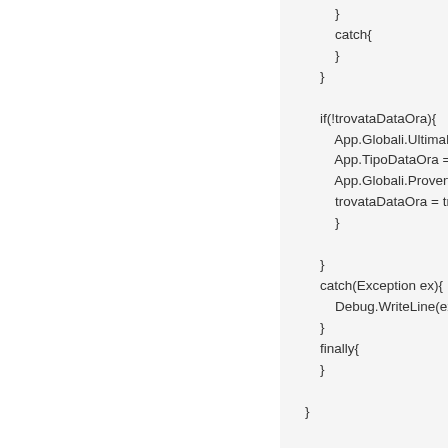}
catch{
}
}

if(!trovataDataOra){
App.Globali.UltimaData
App.TipoDataOra = Ap
App.Globali.Provenien
trovataDataOra = true;
}

}
catch(Exception ex){
Debug.WriteLine(ex.Mes
}
finally{
}

}